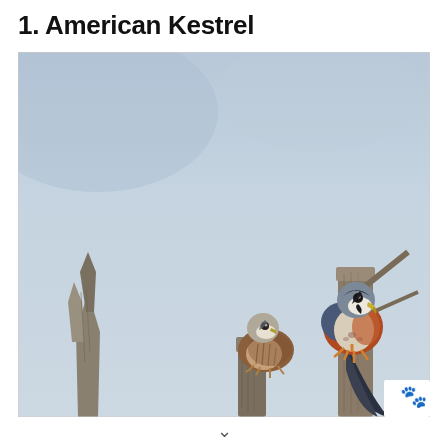1. American Kestrel
[Figure (photo): Two American Kestrel birds perched on weathered wooden stumps against a blue-grey sky. The larger bird on the right is perched higher on a taller stump and displays rufous and slate-blue plumage with black facial markings. The smaller bird on the left sits lower and shows brown streaked plumage. A watermark logo appears in the bottom-right corner of the image.]